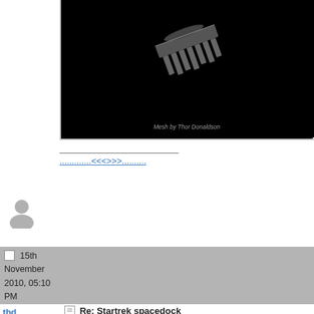[Figure (screenshot): Black background image of a 3D model of a spacedock/comb-like object with text 'Mesh by Thor Donaldson' at bottom]
.............<<<<My Blog>>>>.........
[Figure (illustration): Generic gray user avatar silhouette]
15th November 2010, 05:10 PM
tbd
Senior Member
Professional user

Join Date: May 2005
Location: Norway
Posts: 883
Re: Startrek spacedock
Updated, and with some numbers.
Attached Thumbnails
[Figure (screenshot): Model Information dialog box showing object list: Object 'Walls', v 230, s 82, kids 0; Object 'floors', v 112, s 25, kids 0; Object 'ceilings', v 112, s 20, kids 0; Object 'windowframe', v 5024, s 3768, kids 0; Object 'glass', v 2520, s 315, kids 0; Object 'hull', v 2441, s 1356, kids 0]